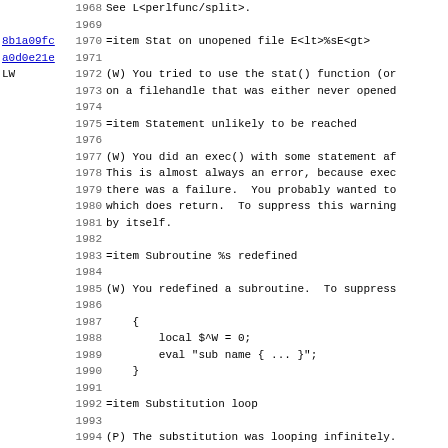1968  See L<perlfunc/split>.
1969
1970  =item Stat on unopened file E<lt>%sE<gt>
1971
1972  (W) You tried to use the stat() function (or
1973  on a filehandle that was either never opened
1974
1975  =item Statement unlikely to be reached
1976
1977  (W) You did an exec() with some statement af
1978  This is almost always an error, because exec
1979  there was a failure.  You probably wanted to
1980  which does return.  To suppress this warning
1981  by itself.
1982
1983  =item Subroutine %s redefined
1984
1985  (W) You redefined a subroutine.  To suppress
1986
1987      {
1988          local $^W = 0;
1989          eval "sub name { ... }";
1990      }
1991
1992  =item Substitution loop
1993
1994  (P) The substitution was looping infinitely.
1995  substitution shouldn't iterate more times th
1996  input, which is what happened.) See the disc
1997  L<perlop/"Quote and Quote-like Operators">.
1998
1999  =item Substitution pattern not terminated